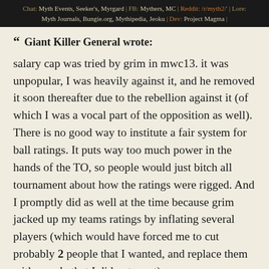Chat: Myth Events, Seeker's, Myrgard | FB: Mythers, MC | Reddit: /r/myth2/' | Lore: Myth Journals, Bungie.org, Mythipedia, Jeoku | Dev: Project Magma |
" Giant Killer General wrote:
salary cap was tried by grim in mwc13. it was unpopular, I was heavily against it, and he removed it soon thereafter due to the rebellion against it (of which I was a vocal part of the opposition as well). There is no good way to institute a fair system for ball ratings. It puts way too much power in the hands of the TO, so people would just bitch all tournament about how the ratings were rigged. And I promptly did as well at the time because grim jacked up my teams ratings by inflating several players (which would have forced me to cut probably 2 people that I wanted, and replace them with people that I did not want).